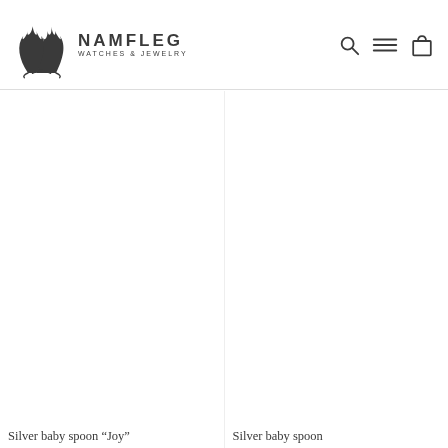NAMFLEG WATCHES & JEWELRY
[Figure (other): Logo of Namfleg Watches & Jewelry — stylized flame/bird emblem with text NAMFLEG and WATCHES & JEWELRY]
[Figure (photo): Product image area for Silver baby spoon Joy (left column), white/blank space]
Silver baby spoon "Joy"
[Figure (photo): Product image area for Silver baby spoon (right column), white/blank space]
Silver baby spoon